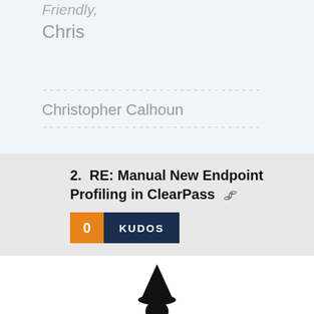Friendly,
Chris
--------------------------------
Christopher Calhoun
--------------------------------
2.  RE: Manual New Endpoint Profiling in ClearPass
0 KUDOS
[Figure (illustration): Wizard character icon — black silhouette of a person wearing a pointed witch/wizard hat, shown from the shoulders up]